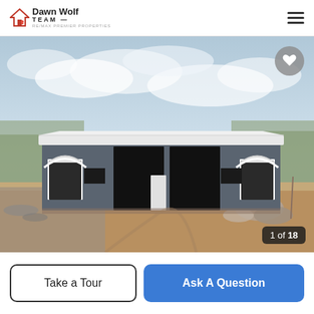Dawn Wolf Team RE/MAX Premier Properties
[Figure (photo): Exterior photo of a large gray metal commercial/workshop building with white roof, two large garage bay openings in the center, two smaller arched doorways on the sides, set on a dirt/gravel lot with bare trees in the background under a partly cloudy sky. Image counter shows 1 of 18.]
Take a Tour
Ask A Question